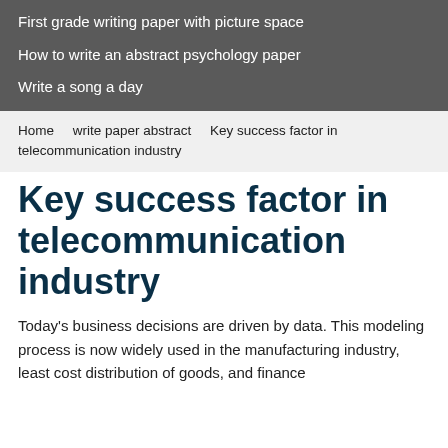First grade writing paper with picture space
How to write an abstract psychology paper
Write a song a day
Home   write paper abstract   Key success factor in telecommunication industry
Key success factor in telecommunication industry
Today's business decisions are driven by data. This modeling process is now widely used in the manufacturing industry, least cost distribution of goods, and finance